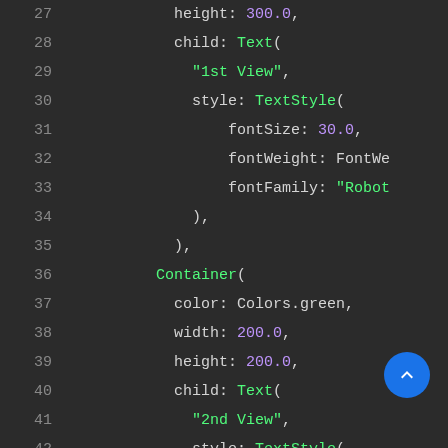[Figure (screenshot): Code editor screenshot showing Flutter/Dart code lines 27-45 with syntax highlighting on dark background. Lines show Container widget properties including height, child Text with style TextStyle properties (fontSize, fontWeight, fontFamily) and a second Container with color Colors.green, width, height, child Text '2nd View' with TextStyle. A blue circular scroll-to-top button overlays line 43.]